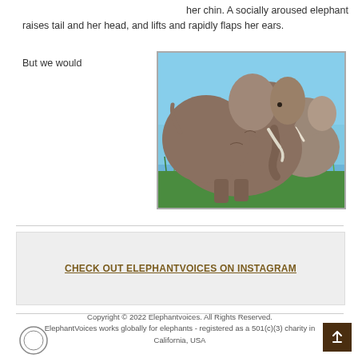her chin. A socially aroused elephant raises tail and her head, and lifts and rapidly flaps her ears.
But we would
[Figure (photo): Two African elephants standing in green grass with a blue sky background. The larger elephant faces right with tusks visible.]
CHECK OUT ELEPHANTVOICES ON INSTAGRAM
Copyright © 2022 Elephantvoices. All Rights Reserved. ElephantVoices works globally for elephants - registered as a 501(c)(3) charity in California, USA